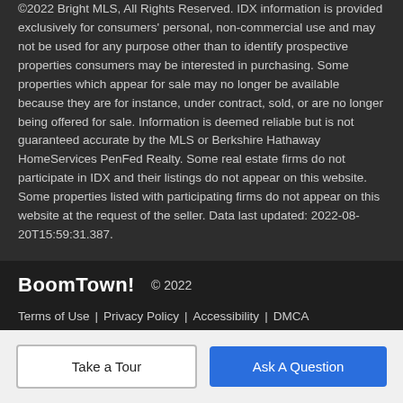©2022 Bright MLS, All Rights Reserved. IDX information is provided exclusively for consumers' personal, non-commercial use and may not be used for any purpose other than to identify prospective properties consumers may be interested in purchasing. Some properties which appear for sale may no longer be available because they are for instance, under contract, sold, or are no longer being offered for sale. Information is deemed reliable but is not guaranteed accurate by the MLS or Berkshire Hathaway HomeServices PenFed Realty. Some real estate firms do not participate in IDX and their listings do not appear on this website. Some properties listed with participating firms do not appear on this website at the request of the seller. Data last updated: 2022-08-20T15:59:31.387.
BoomTown! © 2022 | Terms of Use | Privacy Policy | Accessibility | DMCA | Listings Sitemap
Take a Tour
Ask A Question